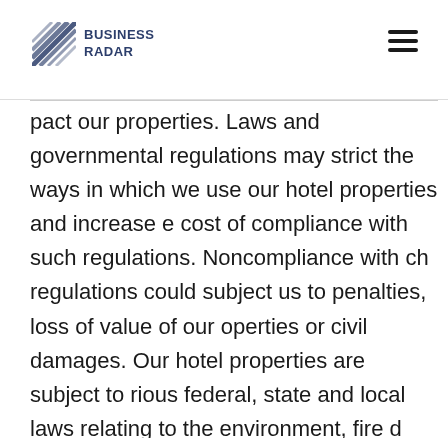BUSINESS RADAR
pact our properties. Laws and governmental regulations may strict the ways in which we use our hotel properties and increase e cost of compliance with such regulations. Noncompliance with ch regulations could subject us to penalties, loss of value of our operties or civil damages. Our hotel properties are subject to rious federal, state and local laws relating to the environment, fire d safety and access and use by disabled persons. Under these laws urts and government agencies have the authority to require us, if are the owner of a contaminated property, to clean up the operty, even if we did not know of or were not responsible for the ntamination. These laws also apply to persons who owned a operty at the time it became contaminated. In addition to the cost cleanup, environmental contamination can affect the value of a operty and, therefore, an owner's ability to borrow funds using the operty as collateral or to sell the property. Under such vironmental laws, courts and government agencies also have the